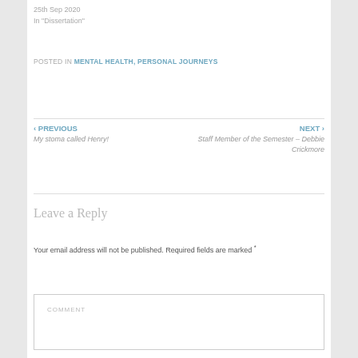25th Sep 2020
In "Dissertation"
POSTED IN MENTAL HEALTH, PERSONAL JOURNEYS
‹ PREVIOUS
My stoma called Henry!
NEXT ›
Staff Member of the Semester – Debbie Crickmore
Leave a Reply
Your email address will not be published. Required fields are marked *
COMMENT